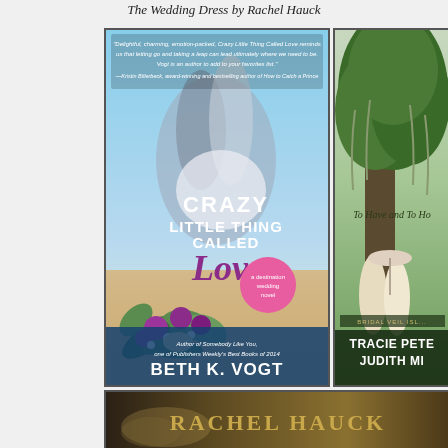The Wedding Dress by Rachel Hauck
[Figure (photo): Book cover: Crazy Little Thing Called Love by Beth K. Vogt - a destination wedding novel. Shows a couple embracing on a beach with a bridal bouquet of purple flowers in the foreground.]
[Figure (photo): Book cover: To Have and To Hold by Tracie Peterson and Judith Miller - Bridal Veil Island series. Shows two women in Victorian dress standing beneath a large oak tree.]
[Figure (photo): Book cover showing author name Rachel Hauck in large gold letters on a dark background.]